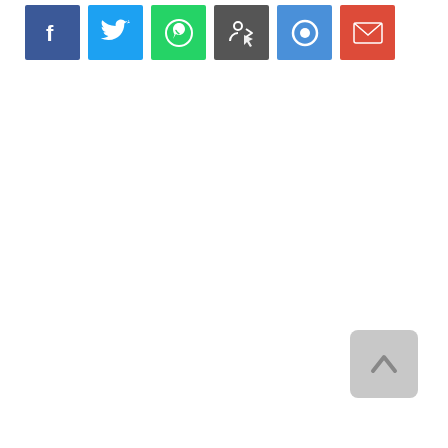[Figure (infographic): A row of six social sharing buttons: Facebook (blue), Twitter (light blue), WhatsApp (green), Print/share (dark grey with cursor icon), a circle/save button (blue), and Gmail (red). Below and to the right is a grey rounded back-to-top button with an upward chevron arrow.]